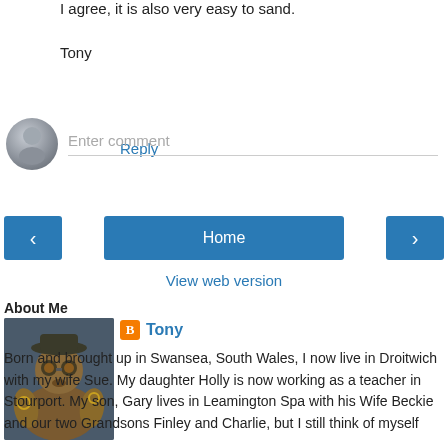I agree, it is also very easy to sand.
Tony
Reply
[Figure (other): Avatar placeholder circle with silhouette icon and Enter comment input field]
‹   Home   ›
View web version
About Me
[Figure (illustration): Profile photo of a fantasy/video game character, steampunk style]
Tony
Born and brought up in Swansea, South Wales, I now live in Droitwich with my wife Sue. My daughter Holly is now working as a teacher in Stourport. My son, Gary lives in Leamington Spa with his Wife Beckie and our two Grandsons Finley and Charlie, but I still think of myself